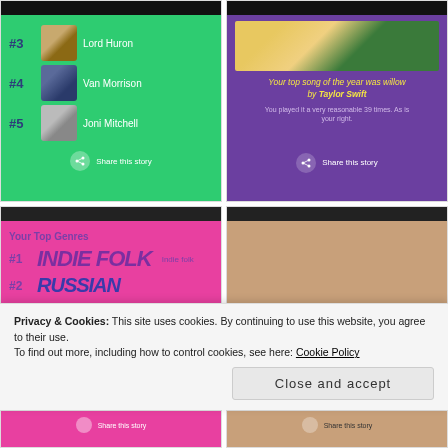[Figure (screenshot): Spotify Wrapped screenshot showing top artists #3 Lord Huron, #4 Van Morrison, #5 Joni Mitchell on green background with Share this story button]
[Figure (screenshot): Spotify Wrapped screenshot on purple background: 'Your top song of the year was willow by Taylor Swift. You played it a very reasonable 39 times. As is your right.' with Share this story button]
[Figure (screenshot): Spotify Wrapped screenshot showing Your Top Genres on pink background: #1 INDIE FOLK (Indie folk), #2 [second genre text cut off]]
[Figure (screenshot): Spotify Wrapped screenshot on tan/brown background showing a card with MORBID label and TRUTH badge, partially visible]
Privacy & Cookies: This site uses cookies. By continuing to use this website, you agree to their use.
To find out more, including how to control cookies, see here: Cookie Policy
Close and accept
[Figure (screenshot): Bottom partial view of pink Spotify Wrapped screenshot with Share this story button]
[Figure (screenshot): Bottom partial view of tan Spotify Wrapped screenshot with Share this story button]